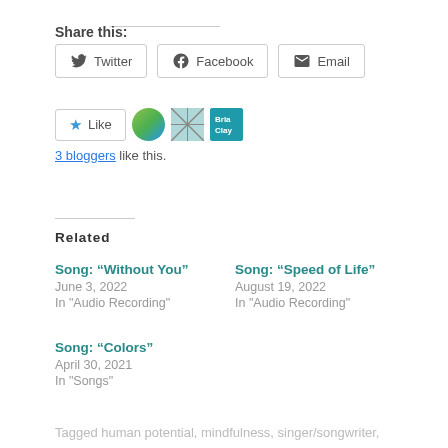Share this:
Twitter  Facebook  Email
Like  3 bloggers like this.
Related
Song: “Without You”
June 3, 2022
In "Audio Recording"
Song: “Speed of Life”
August 19, 2022
In "Audio Recording"
Song: “Colors”
April 30, 2021
In "Songs"
Tagged human potential, mindfulness, singer/songwriter,